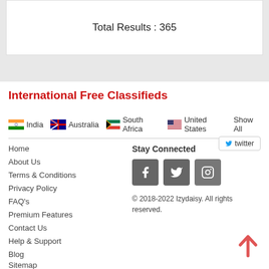Total Results : 365
International Free Classifieds
India  Australia  South Africa  United States  Show All
Home
About Us
Terms & Conditions
Privacy Policy
FAQ's
Premium Features
Contact Us
Help & Support
Blog
Sitemap
Stay Connected
[Figure (illustration): Social media icons: Facebook, Twitter, Instagram]
© 2018-2022 Izydaisy. All rights reserved.